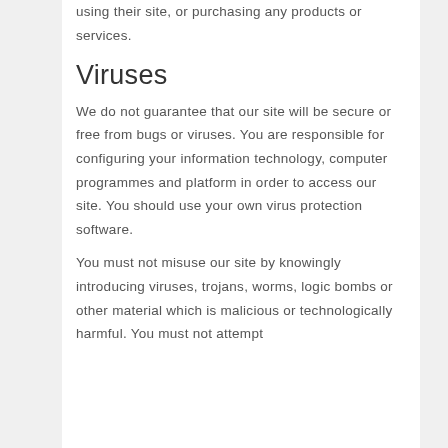using their site, or purchasing any products or services.
Viruses
We do not guarantee that our site will be secure or free from bugs or viruses. You are responsible for configuring your information technology, computer programmes and platform in order to access our site. You should use your own virus protection software.
You must not misuse our site by knowingly introducing viruses, trojans, worms, logic bombs or other material which is malicious or technologically harmful. You must not attempt